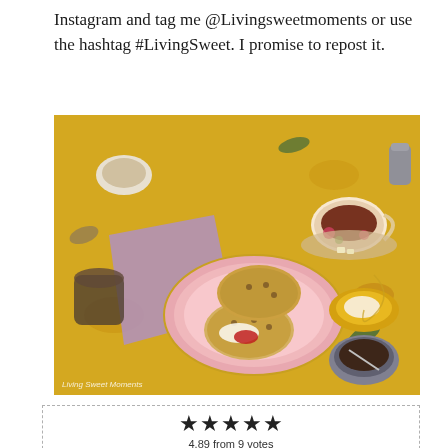Instagram and tag me @Livingsweetmoments or use the hashtag #LivingSweet. I promise to repost it.
[Figure (photo): Overhead view of an English tea party spread on a yellow floral tablecloth: a pink plate with scones topped with cream and jam, a floral teacup with dark tea, a small yellow dish with cream, a silver bowl with jam, and other tea accessories. Watermark reads 'Living Sweet Moments'.]
[Figure (other): Star rating widget showing 5 filled stars and text '4.89 from 9 votes', with a partially visible food photo below.]